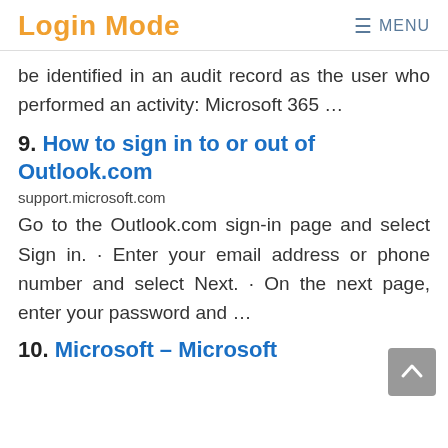Login Mode  ≡ MENU
be identified in an audit record as the user who performed an activity: Microsoft 365 …
9. How to sign in to or out of Outlook.com
support.microsoft.com
Go to the Outlook.com sign-in page and select Sign in. · Enter your email address or phone number and select Next. · On the next page, enter your password and …
10. Microsoft – Microsoft